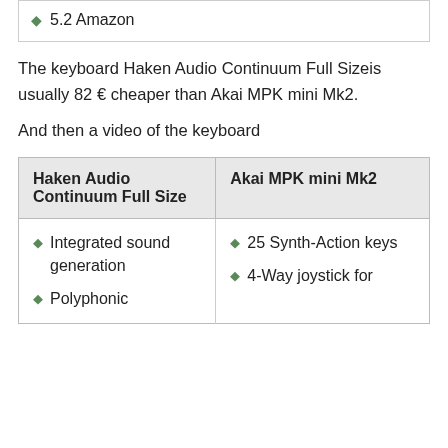5.2 Amazon
The keyboard Haken Audio Continuum Full Sizeis usually 82 € cheaper than Akai MPK mini Mk2.
And then a video of the keyboard
| Haken Audio Continuum Full Size | Akai MPK mini Mk2 |
| --- | --- |
| • Integrated sound generation
• Polyphonic | • 25 Synth-Action keys
• 4-Way joystick for |